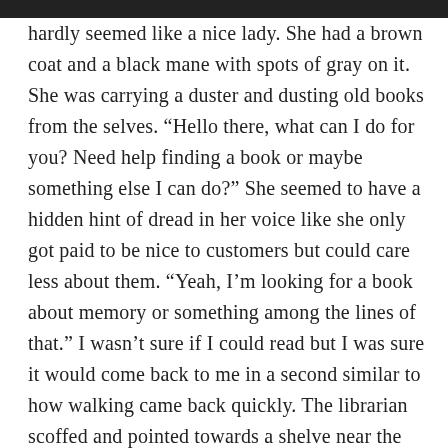hardly seemed like a nice lady. She had a brown coat and a black mane with spots of gray on it. She was carrying a duster and dusting old books from the selves. “Hello there, what can I do for you? Need help finding a book or maybe something else I can do?” She seemed to have a hidden hint of dread in her voice like she only got paid to be nice to customers but could care less about them. “Yeah, I’m looking for a book about memory or something among the lines of that.” I wasn’t sure if I could read but I was sure it would come back to me in a second similar to how walking came back quickly. The librarian scoffed and pointed towards a shelve near the door. It was a rude gesture but I didn’t want to start any trouble, I just wanted answers. The shelve I was lead to had all sorts of books on